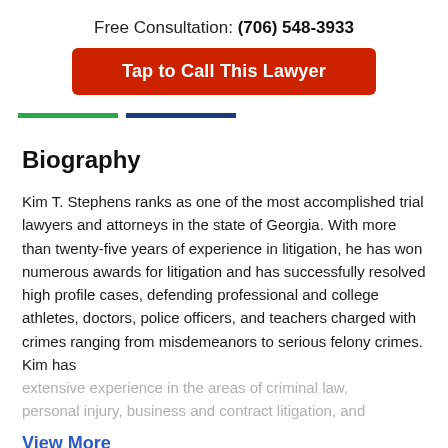Free Consultation: (706) 548-3933
Tap to Call This Lawyer
Biography
Kim T. Stephens ranks as one of the most accomplished trial lawyers and attorneys in the state of Georgia. With more than twenty-five years of experience in litigation, he has won numerous awards for litigation and has successfully resolved high profile cases, defending professional and college athletes, doctors, police officers, and teachers charged with crimes ranging from misdemeanors to serious felony crimes. Kim has extensive experience in the areas of criminal law, personal injury, business and contract litigation, and
View More